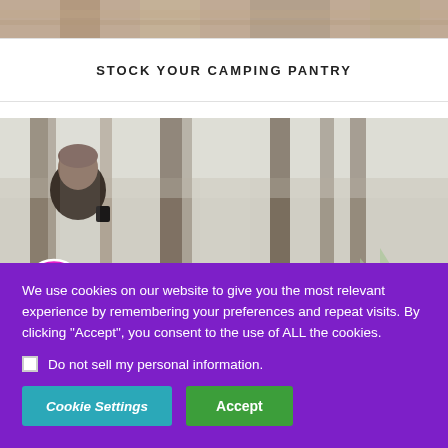[Figure (photo): Top portion of an outdoor camping scene, partially cropped image strip]
STOCK YOUR CAMPING PANTRY
[Figure (photo): Woman in winter hat holding a mug in a snowy forest with trees and a tent visible in background]
[Figure (illustration): Pink/magenta circular accessibility icon with a person symbol]
We use cookies on our website to give you the most relevant experience by remembering your preferences and repeat visits. By clicking “Accept”, you consent to the use of ALL the cookies.
Do not sell my personal information.
Cookie Settings
Accept